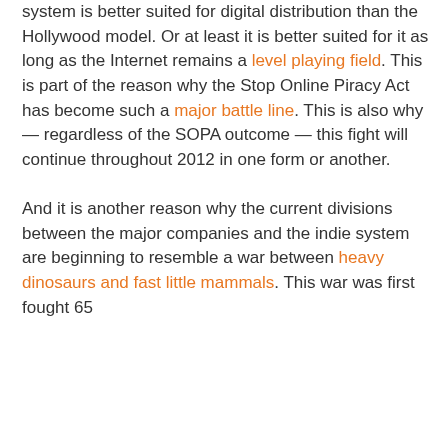system is better suited for digital distribution than the Hollywood model. Or at least it is better suited for it as long as the Internet remains a level playing field. This is part of the reason why the Stop Online Piracy Act has become such a major battle line. This is also why — regardless of the SOPA outcome — this fight will continue throughout 2012 in one form or another.

And it is another reason why the current divisions between the major companies and the indie system are beginning to resemble a war between heavy dinosaurs and fast little mammals. This war was first fought 65...